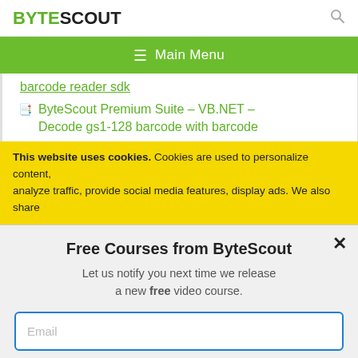BYTESCOUT
[Figure (screenshot): Green navigation bar with hamburger menu icon and Main Menu text]
barcode reader sdk
ByteScout Premium Suite – VB.NET – Decode gs1-128 barcode with barcode
This website uses cookies. Cookies are used to personalize content, analyze traffic, provide social media features, display ads. We also share
Free Courses from ByteScout
Let us notify you next time we release a new free video course.
Email
SUBSCRIBE